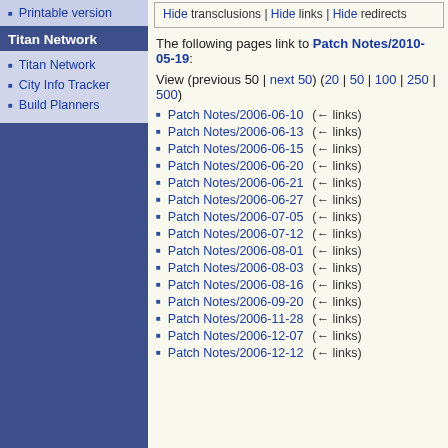Printable version
Titan Network
Titan Network
City Info Tracker
Build Planners
Hide transclusions | Hide links | Hide redirects
The following pages link to Patch Notes/2010-05-19:
View (previous 50 | next 50) (20 | 50 | 100 | 250 | 500)
Patch Notes/2006-06-10  (← links)
Patch Notes/2006-06-13  (← links)
Patch Notes/2006-06-15  (← links)
Patch Notes/2006-06-20  (← links)
Patch Notes/2006-06-21  (← links)
Patch Notes/2006-06-27  (← links)
Patch Notes/2006-07-05  (← links)
Patch Notes/2006-07-12  (← links)
Patch Notes/2006-08-01  (← links)
Patch Notes/2006-08-03  (← links)
Patch Notes/2006-08-16  (← links)
Patch Notes/2006-09-20  (← links)
Patch Notes/2006-11-28  (← links)
Patch Notes/2006-12-07  (← links)
Patch Notes/2006-12-12  (← links)